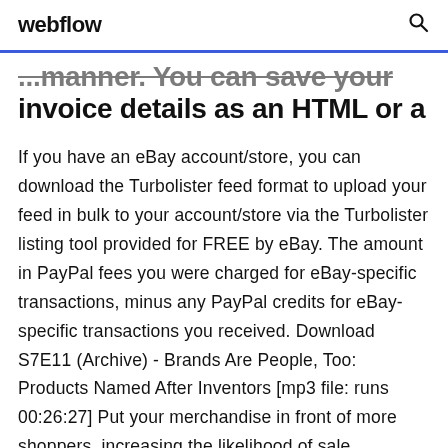webflow
...manner. You can save your invoice details as an HTML or a
If you have an eBay account/store, you can download the Turbolister feed format to upload your feed in bulk to your account/store via the Turbolister listing tool provided for FREE by eBay. The amount in PayPal fees you were charged for eBay-specific transactions, minus any PayPal credits for eBay-specific transactions you received. Download S7E11 (Archive) - Brands Are People, Too: Products Named After Inventors [mp3 file: runs 00:26:27] Put your merchandise in front of more shoppers, increasing the likelihood of sale. Promoted listings is the smart way to get